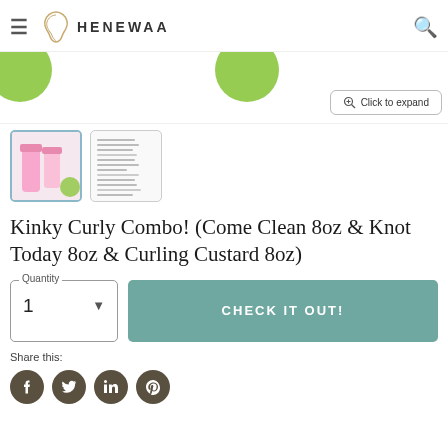HENEWAA
[Figure (screenshot): Product image area with green circles and click to expand button]
[Figure (photo): Product thumbnail showing Kinky Curly bottles with pink and green design]
[Figure (screenshot): Second thumbnail showing product instructions text]
Kinky Curly Combo! (Come Clean 8oz & Knot Today 8oz & Curling Custard 8oz)
Quantity 1
CHECK IT OUT!
Share this: